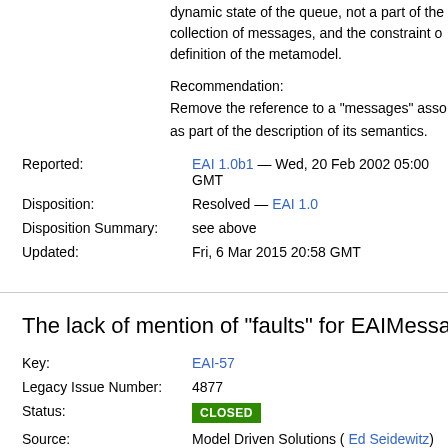dynamic state of the queue, not a part of the collection of messages, and the constraint of definition of the metamodel.
Recommendation:
Remove the reference to a "messages" association as part of the description of its semantics.
Reported: EAI 1.0b1 — Wed, 20 Feb 2002 05:00 GMT
Disposition: Resolved — EAI 1.0
Disposition Summary: see above
Updated: Fri, 6 Mar 2015 20:58 GMT
The lack of mention of "faults" for EAIMessageO
Key: EAI-57
Legacy Issue Number: 4877
Status: CLOSED
Source: Model Driven Solutions ( Ed Seidewitz)